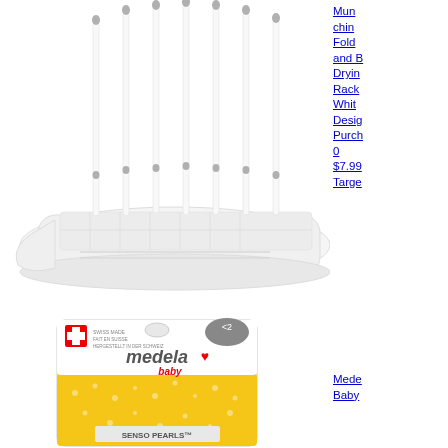[Figure (photo): Munchkin Fold and Bottle Drying Rack in white, with multiple vertical pegs and a tray base]
Munchkin Fold and Bottle Drying Rack White Design Purchase 0 $7.99 Target
[Figure (photo): Medela Baby Senso Pearls product packaging with Swiss cross logo and yellow polka dot background]
Medela Baby